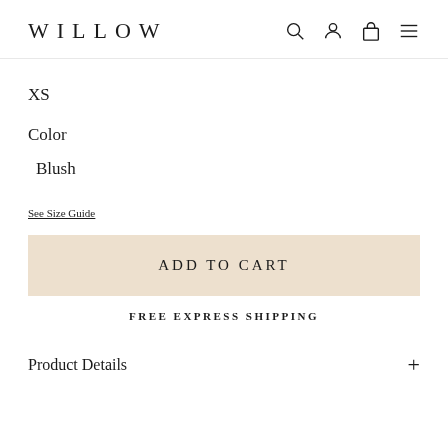WILLOW
XS
Color
Blush
See Size Guide
ADD TO CART
FREE EXPRESS SHIPPING
Product Details